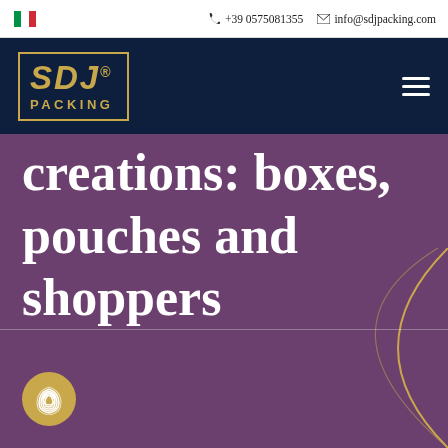+39 0575081355  info@sdjpacking.com
[Figure (logo): SDJ Packing logo in gold on dark navy background with hamburger menu icon]
creations: boxes, pouches and shoppers